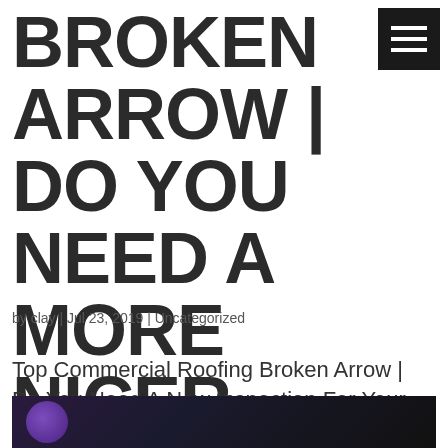BROKEN ARROW | DO YOU NEED A MORE NICER ROOF?
by clay | Jul 23, 2019 | Uncategorized
Top Commercial Roofing Broken Arrow | Do You Need A New Inspection For Your House?
[Figure (photo): Bottom strip showing partial image with purple circle element on dark background]